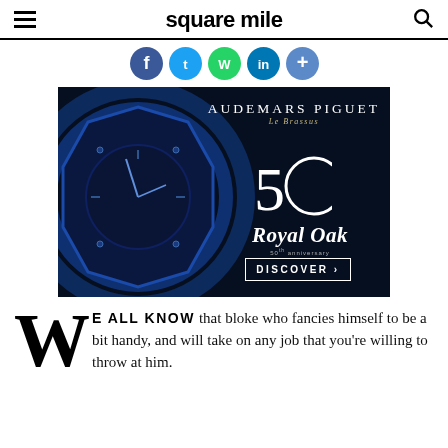square mile
[Figure (illustration): Social media share icons row: Facebook, Twitter, WhatsApp, LinkedIn, and a plus/share button, all in blue circular icons]
[Figure (photo): Audemars Piguet advertisement showing a dark blue Royal Oak watch on the left, with 'AUDEMARS PIGUET Le Brassus' branding, a '50' anniversary logo, 'Royal Oak 50th anniversary' text, and a 'DISCOVER >' button on a dark navy background]
WE ALL KNOW that bloke who fancies himself to be a bit handy, and will take on any job that you're willing to throw at him.